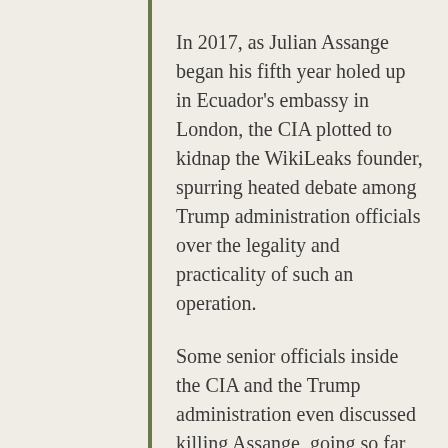In 2017, as Julian Assange began his fifth year holed up in Ecuador's embassy in London, the CIA plotted to kidnap the WikiLeaks founder, spurring heated debate among Trump administration officials over the legality and practicality of such an operation.
Some senior officials inside the CIA and the Trump administration even discussed killing Assange, going so far as to request “sketches” or “options” for how to assassinate him. Discussions over kidnapping or killing Assange occurred “at the highest levels” of the Trump administration, said a former